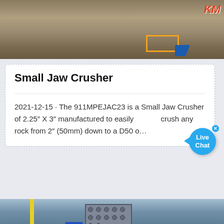[Figure (photo): Top photo showing crushed gravel/rock material on the ground with construction equipment visible; a red logo ('KM' or similar) is in the upper right corner with an orange/blue framed element]
Small Jaw Crusher
2021-12-15 · The 911MPEJAC23 is a Small Jaw Crusher of 2.25″ X 3″ manufactured to easily crush any rock from 2″ (50mm) down to a D50 o…
[Figure (photo): Bottom photo showing a large jaw crusher machine suspended by a crane hook inside an industrial factory/warehouse with steel roof trusses; a blue motor is visible; orange back-to-top button in lower right]